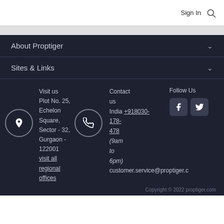Sign In
About Proptiger
Sites & Links
Visit us
Plot No. 25, Echelon Square, Sector - 32, Gurgaon - 122001
visit all regional offices
Contact us
India +918030-178-478
(9am to 6pm)
customer.service@proptiger.com
Follow Us
Copyright © 2022 proptiger.com